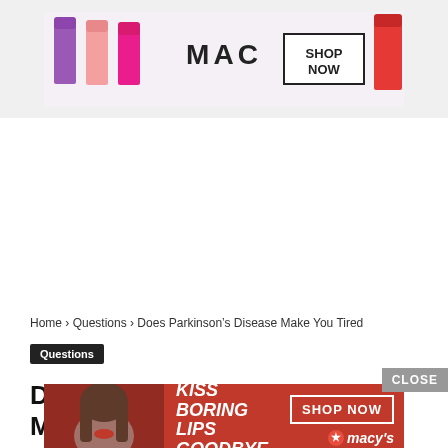[Figure (illustration): MAC cosmetics advertisement banner showing lipsticks in purple, pink, and red colors with MAC logo and 'SHOP NOW' button]
Home › Questions › Does Parkinson's Disease Make You Tired
Questions
Does Parkinson's Disease Make You Tired
[Figure (illustration): Bottom advertisement banner: 'KISS BORING LIPS GOODBYE' with woman's face, SHOP NOW button and Macy's star logo on red background, with CLOSE button]